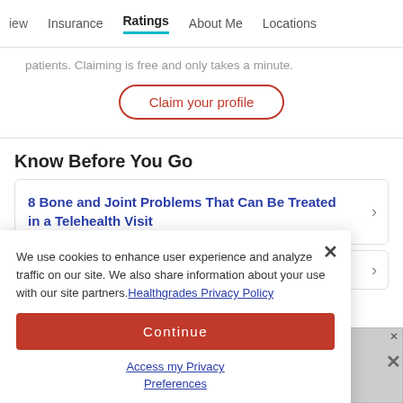iew  Insurance  Ratings  About Me  Locations
patients. Claiming is free and only takes a minute.
Claim your profile
Know Before You Go
8 Bone and Joint Problems That Can Be Treated in a Telehealth Visit
We use cookies to enhance user experience and analyze traffic on our site. We also share information about your use with our site partners. Healthgrades Privacy Policy
Continue
Access my Privacy Preferences